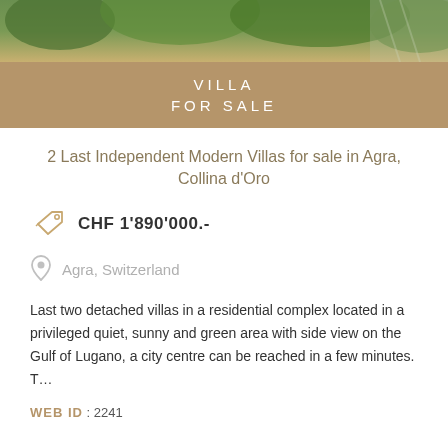[Figure (photo): Aerial or exterior photo of green landscape/villa area]
VILLA
FOR SALE
2 Last Independent Modern Villas for sale in Agra, Collina d'Oro
CHF 1'890'000.-
Agra, Switzerland
Last two detached villas in a residential complex located in a privileged quiet, sunny and green area with side view on the Gulf of Lugano, a city centre can be reached in a few minutes. T...
WEB ID : 2241